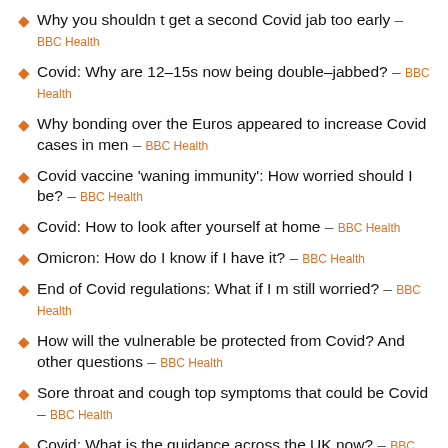Why you shouldn t get a second Covid jab too early – BBC Health
Covid: Why are 12-15s now being double-jabbed? – BBC Health
Why bonding over the Euros appeared to increase Covid cases in men – BBC Health
Covid vaccine 'waning immunity': How worried should I be? – BBC Health
Covid: How to look after yourself at home – BBC Health
Omicron: How do I know if I have it? – BBC Health
End of Covid regulations: What if I m still worried? – BBC Health
How will the vulnerable be protected from Covid? And other questions – BBC Health
Sore throat and cough top symptoms that could be Covid – BBC Health
Covid: What is the guidance across the UK now? – BBC